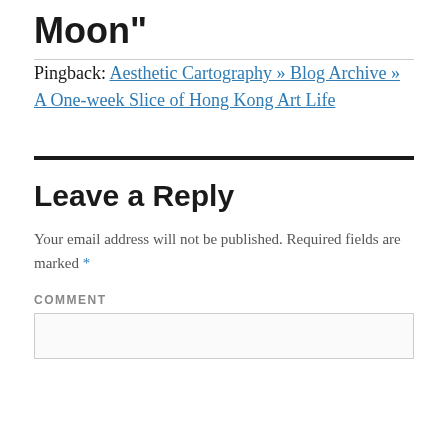Moon"
Pingback: Aesthetic Cartography » Blog Archive » A One-week Slice of Hong Kong Art Life
Leave a Reply
Your email address will not be published. Required fields are marked *
COMMENT